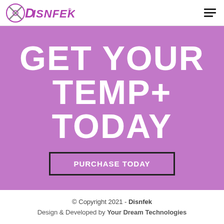Disnfek logo and navigation menu
GET YOUR TEMP+ TODAY
PURCHASE TODAY
© Copyright 2021 - Disnfek
Design & Developed by Your Dream Technologies